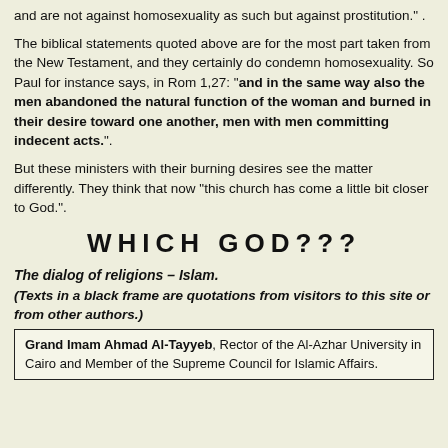and are not against homosexuality as such but against prostitution." .
The biblical statements quoted above are for the most part taken from the New Testament, and they certainly do condemn homosexuality. So Paul for instance says, in Rom 1,27: "and in the same way also the men abandoned the natural function of the woman and burned in their desire toward one another, men with men committing indecent acts.".
But these ministers with their burning desires see the matter differently. They think that now "this church has come a little bit closer to God.".
WHICH GOD???
The dialog of religions – Islam.
(Texts in a black frame are quotations from visitors to this site or from other authors.)
Grand Imam Ahmad Al-Tayyeb, Rector of the Al-Azhar University in Cairo and Member of the Supreme Council for Islamic Affairs.